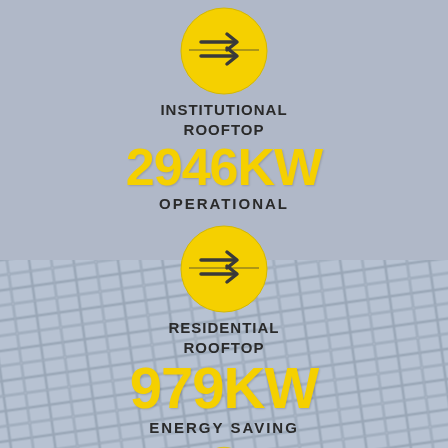[Figure (infographic): Yellow circular arrow icon for Institutional Rooftop section]
INSTITUTIONAL ROOFTOP
2946KW
OPERATIONAL
[Figure (infographic): Yellow circular arrow icon for Residential Rooftop section]
RESIDENTIAL ROOFTOP
979KW
ENERGY SAVING
[Figure (infographic): Yellow circular arrow icon partially visible at bottom]